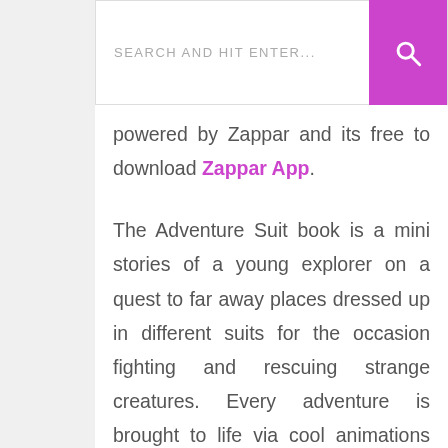SEARCH AND HIT ENTER...
powered by Zappar and its free to download Zappar App.
The Adventure Suit book is a mini stories of a young explorer on a quest to far away places dressed up in different suits for the occasion fighting and rescuing strange creatures. Every adventure is brought to life via cool animations you interact with by tapping and swapping your phone. As you progress through the book, the